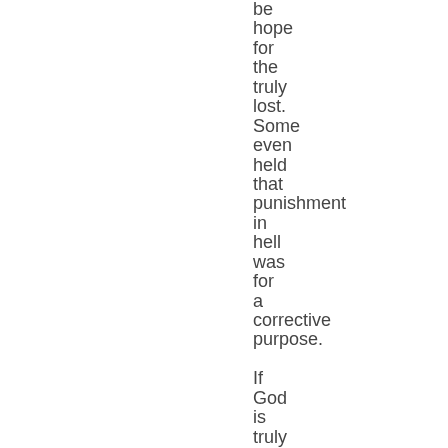be hope for the truly lost. Some even held that punishment in hell was for a corrective purpose. If God is truly love as John says,